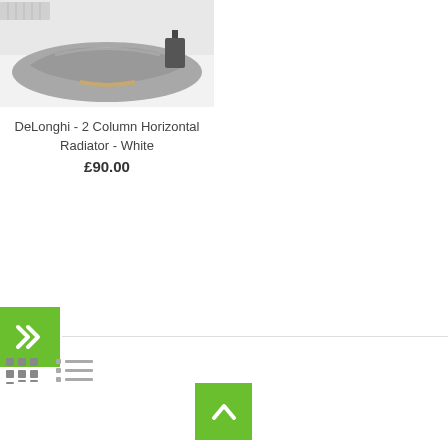[Figure (photo): Photo of a room interior with a sofa or furniture covered in a grey blanket on a white floor, with what appears to be a radiator visible in the background.]
DeLonghi - 2 Column Horizontal Radiator - White
£90.00
[Figure (infographic): Green square button with double right-pointing chevron (>>) symbol.]
[Figure (infographic): Grid view icon (3x3 dots) and list view icon (horizontal lines).]
[Figure (infographic): Green square scroll-to-top button with an upward-pointing caret/chevron symbol.]